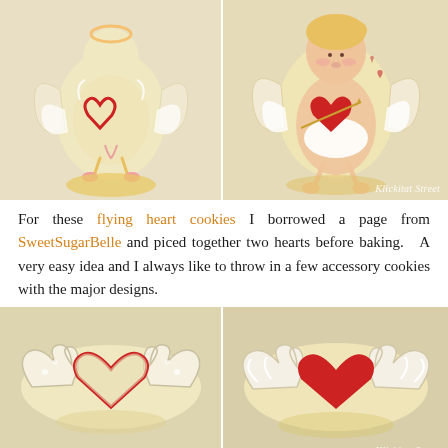[Figure (photo): Two decorated sugar cookies shaped like cupid angels holding hearts, one showing outline stage and one fully decorated with skin tones, white wings, and red heart]
For these flying heart cookies I borrowed a page from SweetSugarBelle and piced together two hearts before baking.   A very easy idea and I always like to throw in a few accessory cookies with the major designs.
[Figure (photo): Two decorated sugar cookies shaped like hearts with wings — one showing outline/undercoat stage and one fully decorated with red heart and white wings]
I'm sorry I don't have much in the way of a tutorial for